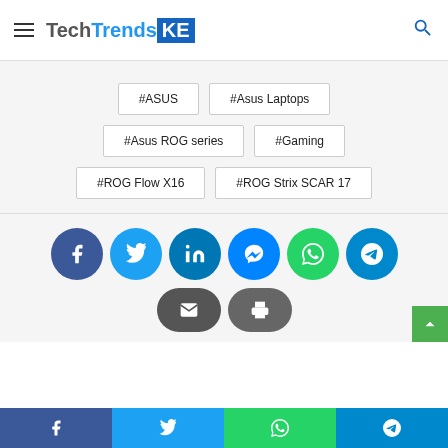TechTrendsKE
#ASUS
#Asus Laptops
#Asus ROG series
#Gaming
#ROG Flow X16
#ROG Strix SCAR 17
[Figure (infographic): Social media share buttons: Facebook, Twitter, LinkedIn, Messenger, WhatsApp, Telegram, Email, Print]
[Figure (infographic): Bottom share bar: Facebook, Twitter, WhatsApp, Telegram]